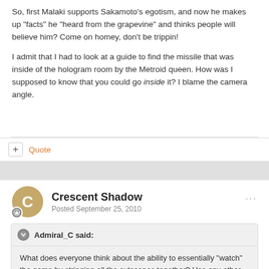So, first Malaki supports Sakamoto's egotism, and now he makes up "facts" he "heard from the grapevine" and thinks people will believe him? Come on homey, don't be trippin!
I admit that I had to look at a guide to find the missile that was inside of the hologram room by the Metroid queen. How was I supposed to know that you could go inside it? I blame the camera angle.
Quote
Crescent Shadow
Posted September 25, 2010
Admiral_C said:
What does everyone think about the ability to essentially "watch" the game by stringing all the cutscenes together? Has any other game done this?